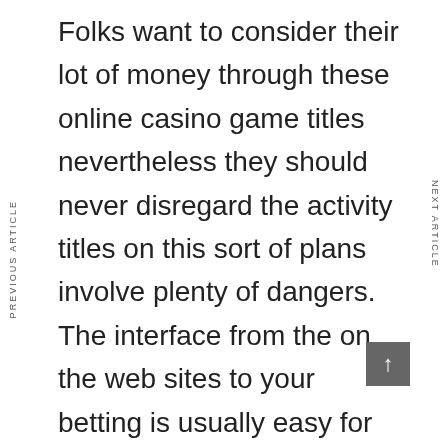Folks want to consider their lot of money through these online casino game titles nevertheless they should never disregard the activity titles on this sort of plans involve plenty of dangers. The interface from the on the web sites to your betting is usually easy for anybody. Should you be working with some kind of issues on these systems, try out to uncover the offered classes on these web based solutions. Sign up for a dependable method and value online games on these methods.